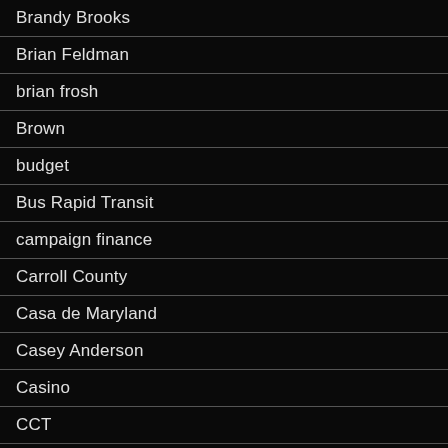Brandy Brooks
Brian Feldman
brian frosh
Brown
budget
Bus Rapid Transit
campaign finance
Carroll County
Casa de Maryland
Casey Anderson
Casino
CCT
Cecil County